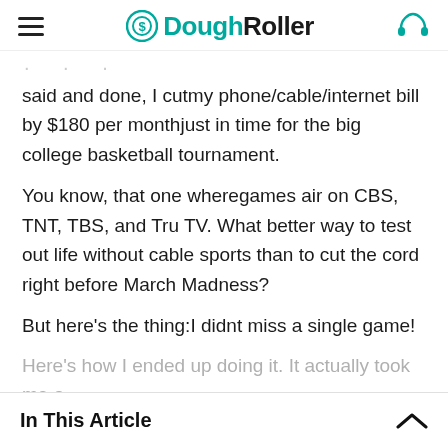DoughRoller
said and done, I cutmy phone/cable/internet bill by $180 per monthjust in time for the big college basketball tournament.
You know, that one wheregames air on CBS, TNT, TBS, and Tru TV. What better way to test out life without cable sports than to cut the cord right before March Madness?
But here's the thing:I didnt miss a single game!
Here's how I ended up doing it. It actually took me a
In This Article